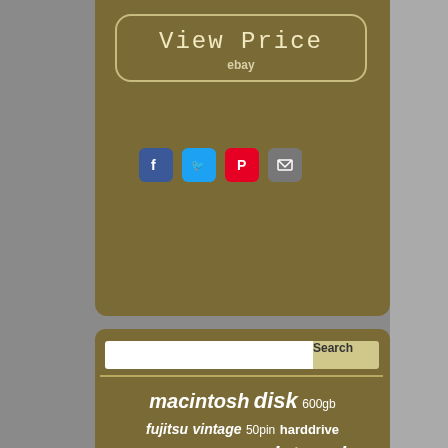[Figure (screenshot): View Price button with eBay label on olive/tan background]
[Figure (infographic): Social media icons: Facebook, Twitter, Pinterest, Email]
[Figure (screenshot): Search bar with Search button]
macintosh disk 600gb fujitsu vintage 50pin harddrive apple u320 server internal sata serial card 50-pin quantum scsi cheetah 68pin 73gb 146gb ultra320 external dell drive controller amiga seagate